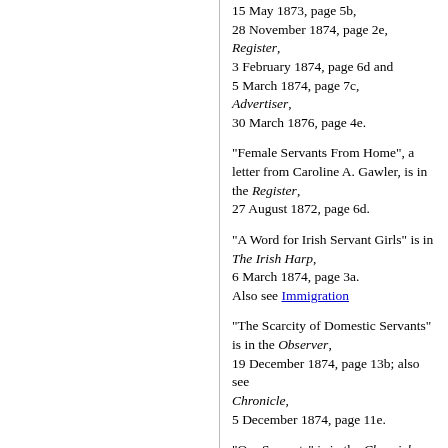15 May 1873, page 5b, 28 November 1874, page 2e, Register, 3 February 1874, page 6d and 5 March 1874, page 7c, Advertiser, 30 March 1876, page 4e.
"Female Servants From Home", a letter from Caroline A. Gawler, is in the Register, 27 August 1872, page 6d.
"A Word for Irish Servant Girls" is in The Irish Harp, 6 March 1874, page 3a. Also see Immigration
"The Scarcity of Domestic Servants" is in the Observer, 19 December 1874, page 13b; also see Chronicle, 5 December 1874, page 11e.
"Our Servants" is in the Chronicle, 8 and 22 April 1876, pages 5d and 5e, Observer, 8 December 1877, page 13d.
A poem is in the Register, 9 May 1876, page 5e.
"A Model Servant", an obituary of Agnes Peebles, is in the Register, 31 December 1883, page 5b.